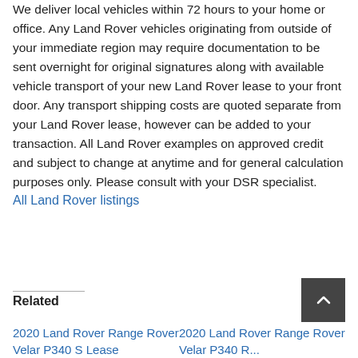We deliver local vehicles within 72 hours to your home or office. Any Land Rover vehicles originating from outside of your immediate region may require documentation to be sent overnight for original signatures along with available vehicle transport of your new Land Rover lease to your front door. Any transport shipping costs are quoted separate from your Land Rover lease, however can be added to your transaction. All Land Rover examples on approved credit and subject to change at anytime and for general calculation purposes only. Please consult with your DSR specialist.
All Land Rover listings
Related
2020 Land Rover Range Rover Velar P340 S Lease
2020 Land Rover Range Rover Velar P340 R...